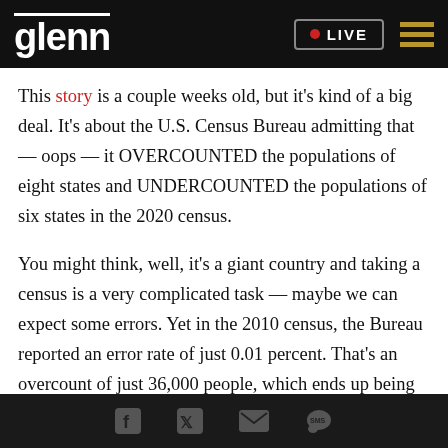glenn • LIVE
This story is a couple weeks old, but it's kind of a big deal. It's about the U.S. Census Bureau admitting that — oops — it OVERCOUNTED the populations of eight states and UNDERCOUNTED the populations of six states in the 2020 census.
You might think, well, it's a giant country and taking a census is a very complicated task — maybe we can expect some errors. Yet in the 2010 census, the Bureau reported an error rate of just 0.01 percent. That's an overcount of just 36,000 people, which ends up being statistically insignificant.
Facebook Twitter Email SMS